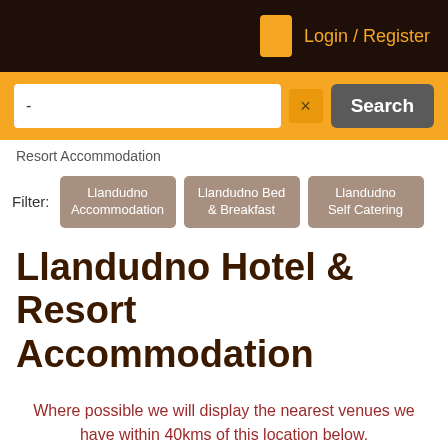Login / Register
[Figure (screenshot): Search bar with text input, clear button (×), and Search button on orange background]
Resort Accommodation
Filter: Llandudno Accommodation  Llandudno Bed & Breakfast  Llandudno Self Catering
Llandudno Hotel & Resort Accommodation
Where possible we will display the nearest venues we have within 40kms of this location below.
Nearby Accommodation